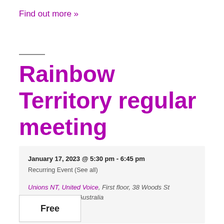Find out more »
Rainbow Territory regular meeting
January 17, 2023 @ 5:30 pm - 6:45 pm
Recurring Event (See all)
Unions NT, United Voice, First floor, 38 Woods St Darwin, NT 0800 Australia
+ Google Map
Free